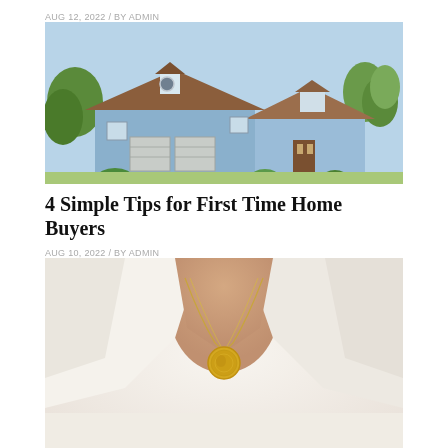AUG 12, 2022 / BY ADMIN
[Figure (photo): Exterior photo of a blue and white craftsman-style house with brown roof, two-car garage, and landscaped front yard on a sunny day]
4 Simple Tips for First Time Home Buyers
AUG 10, 2022 / BY ADMIN
[Figure (photo): Close-up photo of a person wearing a white shirt and a gold coin pendant necklace]